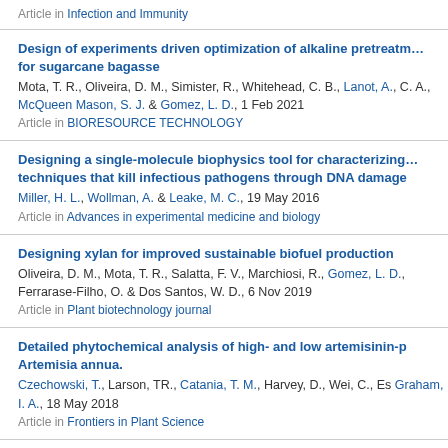Article in Infection and Immunity
Design of experiments driven optimization of alkaline pretreatment for sugarcane bagasse
Mota, T. R., Oliveira, D. M., Simister, R., Whitehead, C. B., Lanot, A., C. A., McQueen Mason, S. J. & Gomez, L. D., 1 Feb 2021
Article in BIORESOURCE TECHNOLOGY
Designing a single-molecule biophysics tool for characterizing techniques that kill infectious pathogens through DNA damage
Miller, H. L., Wollman, A. & Leake, M. C., 19 May 2016
Article in Advances in experimental medicine and biology
Designing xylan for improved sustainable biofuel production
Oliveira, D. M., Mota, T. R., Salatta, F. V., Marchiosi, R., Gomez, L. D., Ferrarase-Filho, O. & Dos Santos, W. D., 6 Nov 2019
Article in Plant biotechnology journal
Detailed phytochemical analysis of high- and low artemisinin-p Artemisia annua.
Czechowski, T., Larson, TR., Catania, T. M., Harvey, D., Wei, C., Es Graham, I. A., 18 May 2018
Article in Frontiers in Plant Science
Detecting deterrence from patrol data
Dobson, A., Milner-Gulland, E. J., Beale, C. M., Ibbett, H. & Keane, A.
Article in Conservation Biology